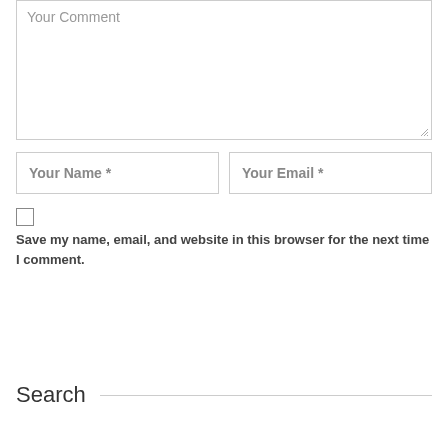Your Comment
Your Name *
Your Email *
Save my name, email, and website in this browser for the next time I comment.
POST COMMENT
Search